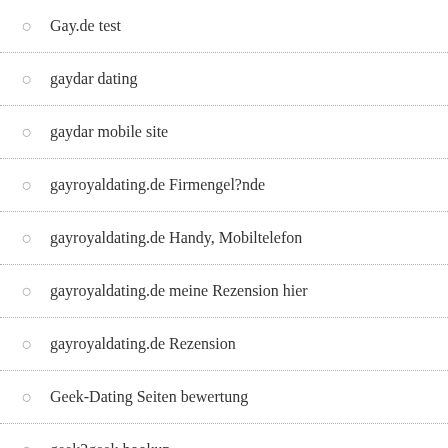Gay.de test
gaydar dating
gaydar mobile site
gayroyaldating.de Firmengel?nde
gayroyaldating.de Handy, Mobiltelefon
gayroyaldating.de meine Rezension hier
gayroyaldating.de Rezension
Geek-Dating Seiten bewertung
geek2geek hookup
Geek2geek mobile site
Geek2Geek username
Georgia payday loan